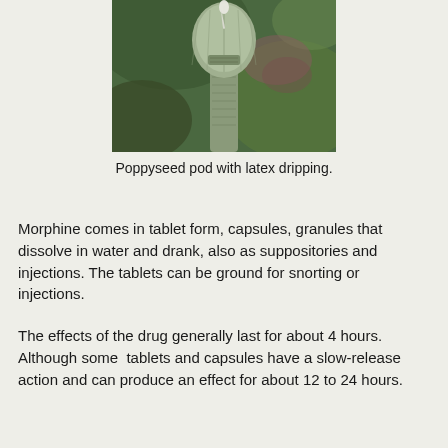[Figure (photo): Close-up photograph of a poppyseed pod with white latex dripping from it, green blurred background]
Poppyseed pod with latex dripping.
Morphine comes in tablet form, capsules, granules that dissolve in water and drank, also as suppositories and injections. The tablets can be ground for snorting or injections.
The effects of the drug generally last for about 4 hours.  Although some  tablets and capsules have a slow-release action and can produce an effect for about 12 to 24 hours.